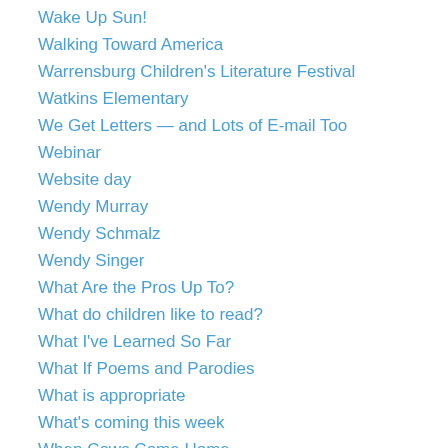Wake Up Sun!
Walking Toward America
Warrensburg Children's Literature Festival
Watkins Elementary
We Get Letters — and Lots of E-mail Too
Webinar
Website day
Wendy Murray
Wendy Schmalz
Wendy Singer
What Are the Pros Up To?
What do children like to read?
What I've Learned So Far
What If Poems and Parodies
What is appropriate
What's coming this week
When Cows Come Home
Who do you want to see on my blog?
Why do we write?
Wikipedia